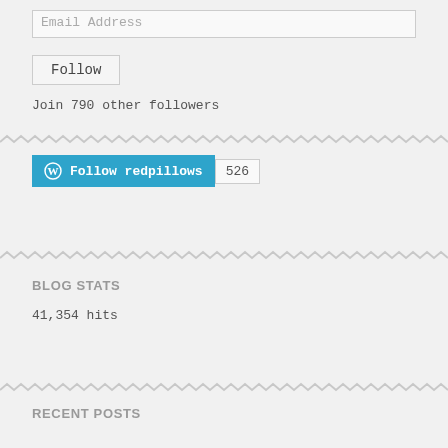Email Address
Follow
Join 790 other followers
[Figure (other): WordPress Follow redpillows button with count 526]
BLOG STATS
41,354 hits
RECENT POSTS